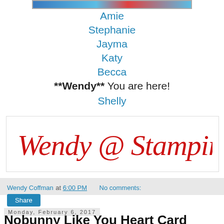[Figure (illustration): Decorative banner image at top of blog post]
Amie
Stephanie
Jayma
Katy
Becca
**Wendy** You are here!
Shelly
[Figure (illustration): Handwritten red signature reading 'Wendy @ Stamping Rules!']
Wendy Coffman at 6:00 PM   No comments:
Share
Monday, February 6, 2017
Nobunny Like You Heart Card